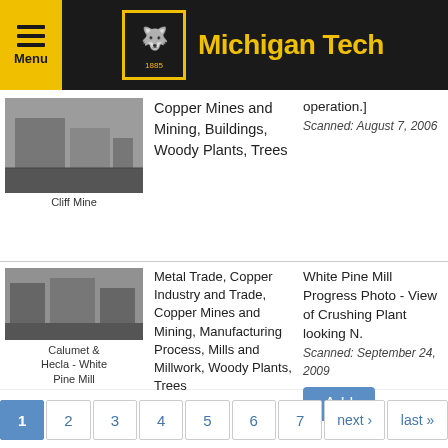Michigan Tech
[Figure (photo): Thumbnail of Cliff Mine]
Copper Mines and Mining, Buildings, Woody Plants, Trees
operation.]
Scanned: August 7, 2006
[Figure (photo): Thumbnail of Calumet & Hecla - White Pine Mill]
Metal Trade, Copper Industry and Trade, Copper Mines and Mining, Manufacturing Process, Mills and Millwork, Woody Plants, Trees
White Pine Mill Progress Photo - View of Crushing Plant looking N.
Scanned: September 24, 2009
1 2 3 4 5 6 7 next › last »